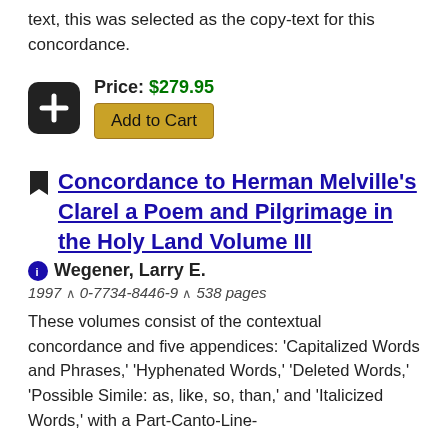text, this was selected as the copy-text for this concordance.
Price: $279.95
Add to Cart
Concordance to Herman Melville's Clarel a Poem and Pilgrimage in the Holy Land Volume III
Wegener, Larry E.
1997 ∧ 0-7734-8446-9 ∧ 538 pages
These volumes consist of the contextual concordance and five appendices: 'Capitalized Words and Phrases,' 'Hyphenated Words,' 'Deleted Words,' 'Possible Simile: as, like, so, than,' and 'Italicized Words,' with a Part-Canto-Line-